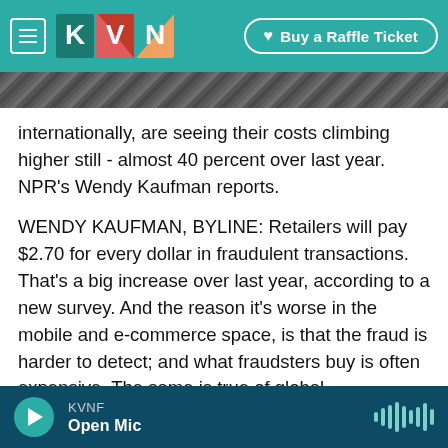[Figure (screenshot): KVNF public radio website top navigation bar with hamburger menu, KVNF logo, and Buy a Raffle Ticket button, overlaid on a dark rocky background image]
internationally, are seeing their costs climbing higher still - almost 40 percent over last year. NPR's Wendy Kaufman reports.
WENDY KAUFMAN, BYLINE: Retailers will pay $2.70 for every dollar in fraudulent transactions. That's a big increase over last year, according to a new survey. And the reason it's worse in the mobile and e-commerce space, is that the fraud is harder to detect; and what fraudsters buy is often expensive. The same is true of global transactions.
Jim Van Dyke, of Javelin Strategy and Research,
[Figure (screenshot): KVNF radio player bar at the bottom showing play button, station name KVNF, show name Open Mic, and waveform icon]